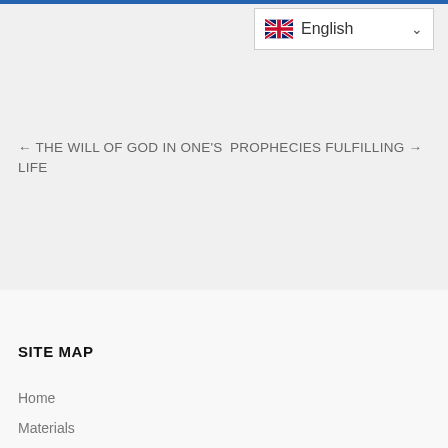[Figure (other): Language selector UI element showing UK flag, 'English' label, and dropdown chevron]
← THE WILL OF GOD IN ONE'S LIFE
PROPHECIES FULFILLING →
SITE MAP
Home
Materials